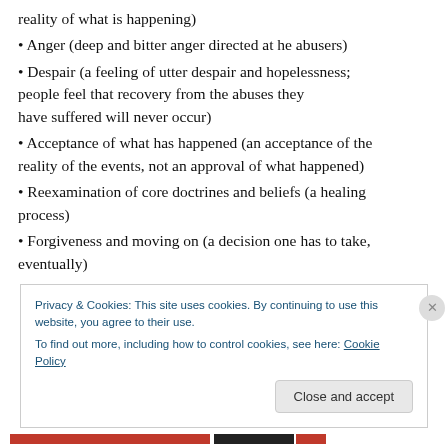reality of what is happening)
• Anger (deep and bitter anger directed at he abusers)
• Despair (a feeling of utter despair and hopelessness; people feel that recovery from the abuses they have suffered will never occur)
• Acceptance of what has happened (an acceptance of the reality of the events, not an approval of what happened)
• Reexamination of core doctrines and beliefs (a healing process)
• Forgiveness and moving on (a decision one has to take, eventually)
Privacy & Cookies: This site uses cookies. By continuing to use this website, you agree to their use. To find out more, including how to control cookies, see here: Cookie Policy